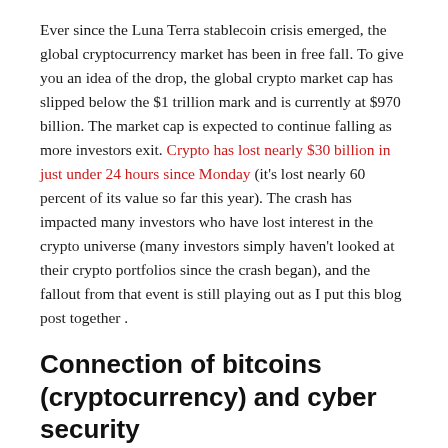Ever since the Luna Terra stablecoin crisis emerged, the global cryptocurrency market has been in free fall. To give you an idea of the drop, the global crypto market cap has slipped below the $1 trillion mark and is currently at $970 billion. The market cap is expected to continue falling as more investors exit. Crypto has lost nearly $30 billion in just under 24 hours since Monday (it's lost nearly 60 percent of its value so far this year). The crash has impacted many investors who have lost interest in the crypto universe (many investors simply haven't looked at their crypto portfolios since the crash began), and the fallout from that event is still playing out as I put this blog post together .
Connection of bitcoins (cryptocurrency) and cyber security
Coming to the title of this post, an analyst told me late at night that anyone who has invested in Bitcoins over the past 18 months lost some investment value in this crash. In addition to legitimate